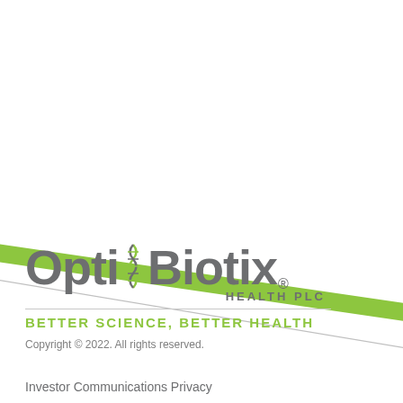[Figure (illustration): Two diagonal decorative lines crossing the upper portion of the page: one thin gray line and one thicker green line, both running diagonally from left to right]
[Figure (logo): OptiBiotix Health PLC logo with DNA helix graphic between 'Opti' and 'Biotix', registered trademark symbol, and 'HEALTH PLC' subtitle]
BETTER SCIENCE, BETTER HEALTH
Copyright © 2022. All rights reserved.
Investor Communications Privacy